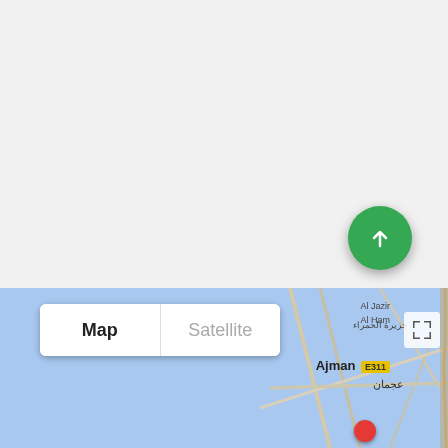[Figure (screenshot): Mobile app screenshot showing a mostly blank white/light gray area in the top portion, a green circular FAB (floating action button) with an upward arrow, and a Google Maps-style map strip at the bottom showing Ajman area with Map/Satellite toggle buttons and partial map view with Arabic text labels.]